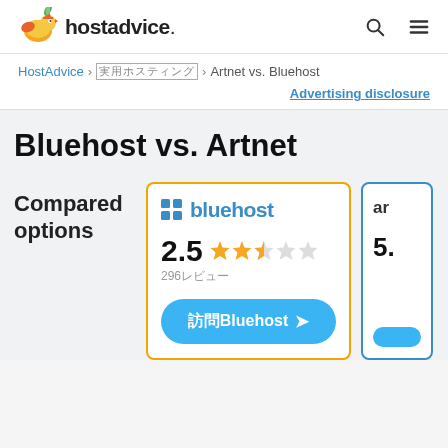hostadvice.
HostAdvice > ウェブホスティング比較 > Artnet vs. Bluehost
Advertising disclosure
Bluehost vs. Artnet
Compared options
[Figure (other): Bluehost comparison card with 2.5 star rating (296 reviews) and visit button. Partially visible second card for Artnet with rating 5.]
2.5 stars, 296レビュー
訪問Bluehost